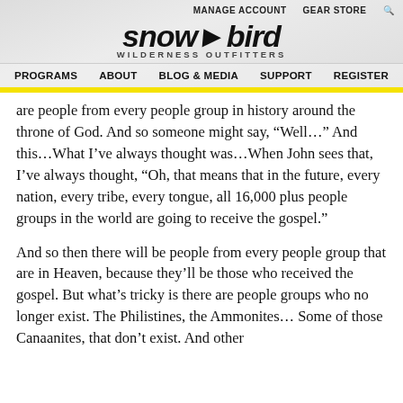MANAGE ACCOUNT   GEAR STORE
[Figure (logo): Snowbird Wilderness Outfitters logo with stylized italic text and tagline 'WILDERNESS OUTFITTERS']
PROGRAMS   ABOUT   BLOG & MEDIA   SUPPORT   REGISTER
are people from every people group in history around the throne of God. And so someone might say, “Well…” And this…What I’ve always thought was…When John sees that, I’ve always thought, “Oh, that means that in the future, every nation, every tribe, every tongue, all 16,000 plus people groups in the world are going to receive the gospel.”
And so then there will be people from every people group that are in Heaven, because they’ll be those who received the gospel. But what’s tricky is there are people groups who no longer exist. The Philistines, the Ammonites… Some of those Canaanites, that don’t exist. And other